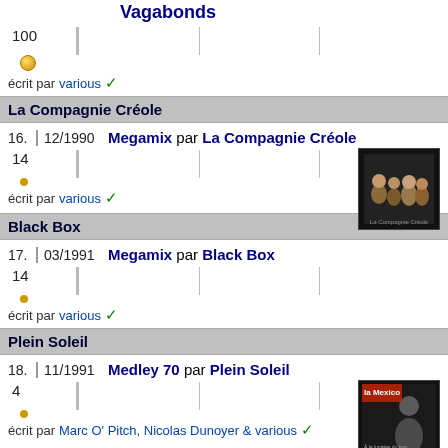Vagabonds
100
écrit par various ✓
La Compagnie Créole
16. 12/1990 Megamix par La Compagnie Créole
14
écrit par various ✓
[Figure (photo): Album cover for La Compagnie Créole Megamix]
Black Box
17. 03/1991 Megamix par Black Box
14
écrit par various ✓
Plein Soleil
18. 11/1991 Medley 70 par Plein Soleil
4
écrit par Marc O' Pitch, Nicolas Dunoyer & various ✓
[Figure (photo): Album cover for Plein Soleil Medley 70]